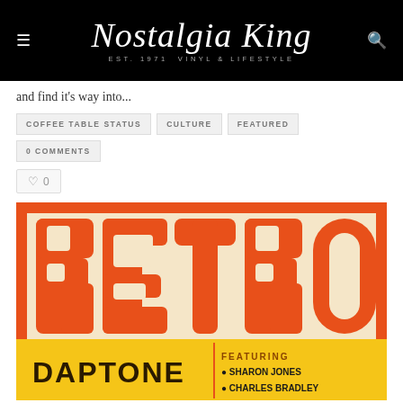Nostalgia King — EST. 1971 VINYL & LIFESTYLE
and find it's way into...
COFFEE TABLE STATUS  CULTURE  FEATURED  0 COMMENTS
♡ 0
[Figure (photo): Album cover art for 'Retro Daptone' featuring large orange retro-style letters spelling RETRO on a cream background with orange border, and below text reading DAPTONE, FEATURING SHARON JONES, CHARLES BRADLEY]